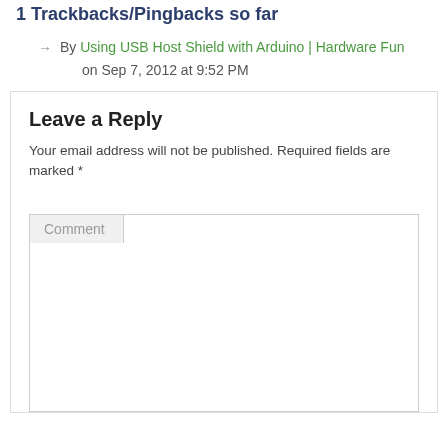1 Trackbacks/Pingbacks so far
By Using USB Host Shield with Arduino | Hardware Fun on Sep 7, 2012 at 9:52 PM
Leave a Reply
Your email address will not be published. Required fields are marked *
Comment